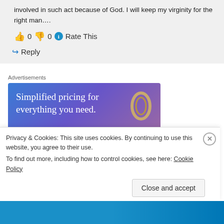involved in such act because of God. I will keep my virginity for the right man….
👍 0 👎 0 ℹ Rate This
↪ Reply
Advertisements
[Figure (photo): Advertisement banner with gradient blue-purple background reading 'Simplified pricing for everything you need.' with a ring image and pink bar]
Privacy & Cookies: This site uses cookies. By continuing to use this website, you agree to their use.
To find out more, including how to control cookies, see here: Cookie Policy
Close and accept